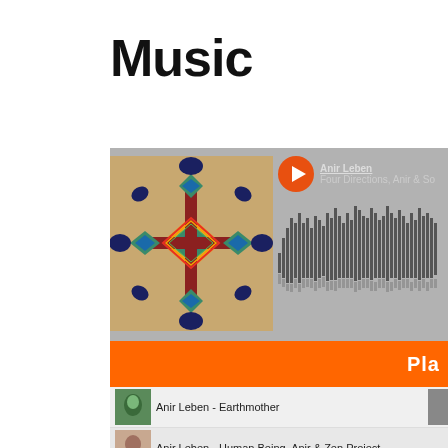Music
[Figure (screenshot): Music player widget showing album art with a decorative cross/mandala pattern, orange play button, track name 'Anir Leben - Four Directions, Anir & So...', audio waveform, orange playlist bar labeled 'Pla', and a tracklist with items: Anir Leben - Earthmother, Anir Leben - Human Being Anir & Zen Project, Anir Leben - If I Lose Myself Anir & Monoklon, Anir Leben - Army Of Me, Anir Leben - Impro Voice Hang Percussion Violin for Cl Festival Im...]